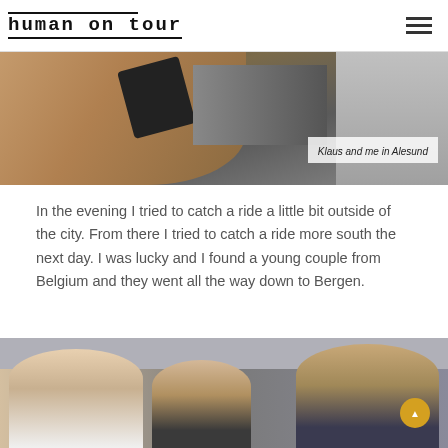human on tour
[Figure (photo): A hand holding a phone near a bag with hiking figure stickers, with a person in a grey shirt partially visible on the right. Caption reads: Klaus and me in Alesund]
Klaus and me in Alesund
In the evening I tried to catch a ride a little bit outside of the city. From there I tried to catch a ride more south the next day. I was lucky and I found a young couple from Belgium and they went all the way down to Bergen.
[Figure (photo): Three people in a car interior — a blonde woman on the left, a young man in the middle, and a person with glasses on the right.]